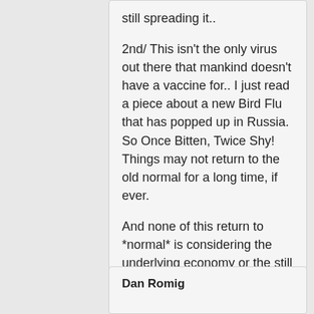still spreading it..
2nd/ This isn't the only virus out there that mankind doesn't have a vaccine for.. I just read a piece about a new Bird Flu that has popped up in Russia. So Once Bitten, Twice Shy! Things may not return to the old normal for a long time, if ever.
And none of this return to *normal* is considering the underlying economy or the still crazy political instability.
Dan Romig